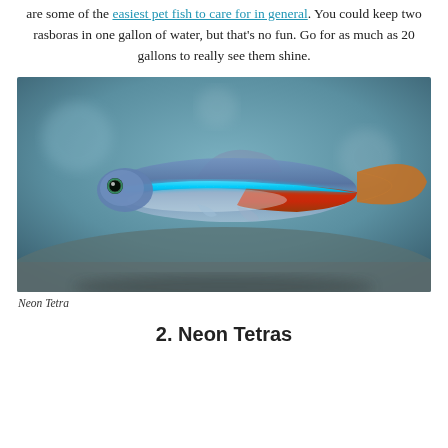are some of the easiest pet fish to care for in general. You could keep two rasboras in one gallon of water, but that's no fun. Go for as much as 20 gallons to really see them shine.
[Figure (photo): Close-up photograph of a Neon Tetra fish swimming, showing its distinctive bright blue horizontal stripe along its body and red/orange coloring on the lower rear half. The fish is viewed from the side against a blurred blue-gray aquatic background.]
Neon Tetra
2. Neon Tetras